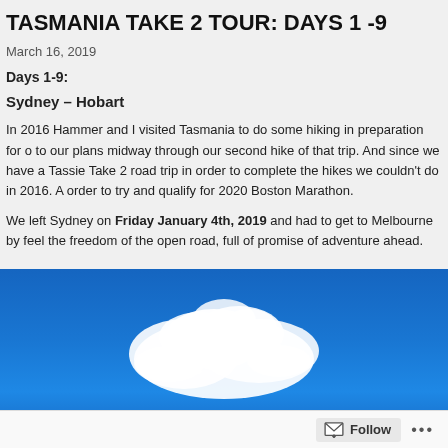TASMANIA TAKE 2 TOUR: DAYS 1 -9
March 16, 2019
Days 1-9:
Sydney – Hobart
In 2016 Hammer and I visited Tasmania to do some hiking in preparation for o… to our plans midway through our second hike of that trip. And since we have a… Tassie Take 2 road trip in order to complete the hikes we couldn't do in 2016. A order to try and qualify for 2020 Boston Marathon.
We left Sydney on Friday January 4th, 2019 and had to get to Melbourne by … feel the freedom of the open road, full of promise of adventure ahead.
[Figure (photo): Blue sky with white clouds, taken from below looking upward]
Follow ...